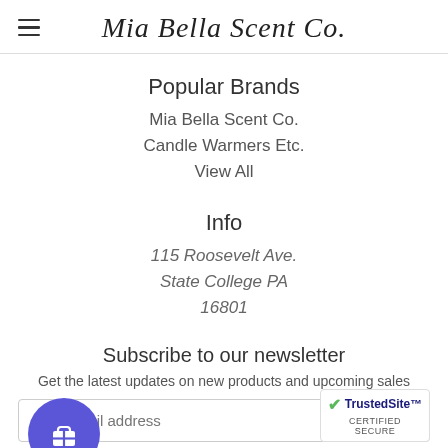Mia Bella Scent Co.
Popular Brands
Mia Bella Scent Co.
Candle Warmers Etc.
View All
Info
115 Roosevelt Ave.
State College PA
16801
Subscribe to our newsletter
Get the latest updates on new products and upcoming sales
Your email address